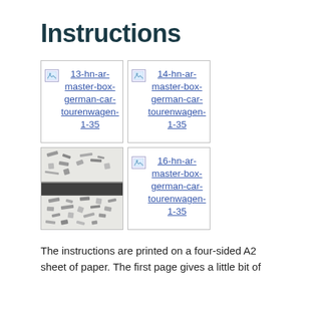Instructions
[Figure (other): Broken image icon with link: 13-hn-ar-master-box-german-car-tourenwagen-1-35]
[Figure (other): Broken image icon with link: 14-hn-ar-master-box-german-car-tourenwagen-1-35]
[Figure (photo): Photograph of model kit parts/sprues laid out on white surface]
[Figure (other): Broken image icon with link: 16-hn-ar-master-box-german-car-tourenwagen-1-35]
The instructions are printed on a four-sided A2 sheet of paper. The first page gives a little bit of